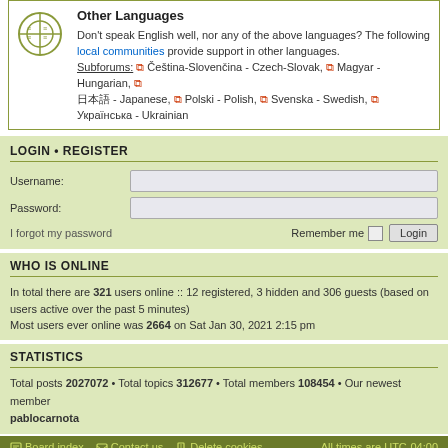Other Languages — Don't speak English well, nor any of the above languages? The following local communities provide support in other languages. Subforums: Čeština-Slovenčina - Czech-Slovak, Magyar - Hungarian, 日本語 - Japanese, Polski - Polish, Svenska - Swedish, Українська - Ukrainian
LOGIN • REGISTER
Username: [input field]
Password: [input field]
I forgot my password   Remember me [checkbox] Login
WHO IS ONLINE
In total there are 321 users online :: 12 registered, 3 hidden and 306 guests (based on users active over the past 5 minutes)
Most users ever online was 2664 on Sat Jan 30, 2021 2:15 pm
STATISTICS
Total posts 2027072 • Total topics 312677 • Total members 108454 • Our newest member pablocarnota
Board index   Contact us   Delete cookies   All times are UTC-04:00
By continuing to use this website, you consent to the use of cookies in accordance with our Cookies Policy   OK